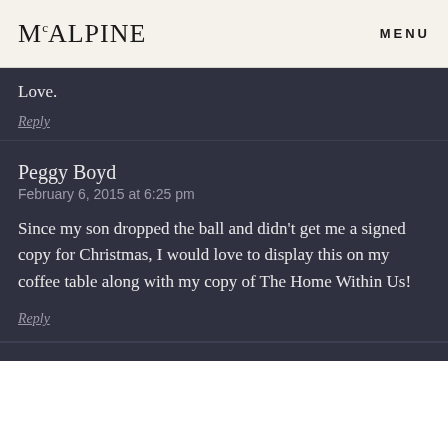McALPINE  MENU
Love.
Reply
Peggy Boyd
February 6, 2015 at 6:25 pm
Since my son dropped the ball and didn't get me a signed copy for Christmas, I would love to display this on my coffee table along with my copy of The Home Within Us!
Reply